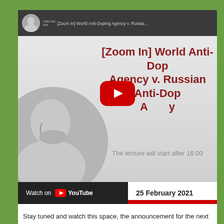[Figure (screenshot): YouTube video thumbnail/embed for '[Zoom In] World Anti-Doping Agency v. Russian Anti-Doping Agency' webinar. Shows a gray silhouette profile of a person, the video title in dark red text, a YouTube play button, 'Watch on YouTube' button at bottom left, and '25 February 2021' date at bottom right.]
Stay tuned and watch this space, the announcement for the next Zoom In webinar, which will take place on 31 March, is coming.